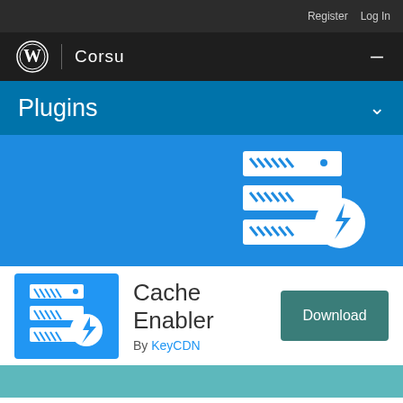Register   Log In
Corsu
Plugins
[Figure (logo): Cache Enabler plugin hero banner with server/cache icon on blue background]
[Figure (logo): Cache Enabler plugin icon — server with lightning bolt on blue background]
Cache Enabler
By KeyCDN